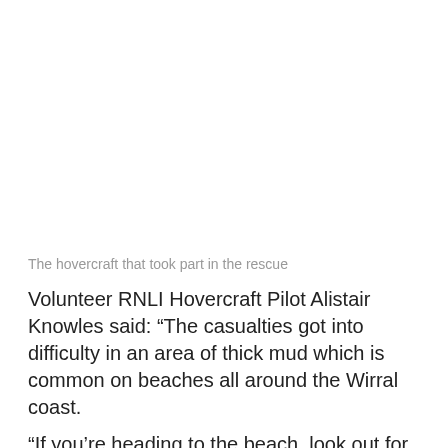[Figure (photo): Photo of the hovercraft that took part in the rescue (image area appears blank/white in this rendering)]
The hovercraft that took part in the rescue
Volunteer RNLI Hovercraft Pilot Alistair Knowles said: “The casualties got into difficulty in an area of thick mud which is common on beaches all around the Wirral coast.
“If you’re heading to the beach, look out for safety